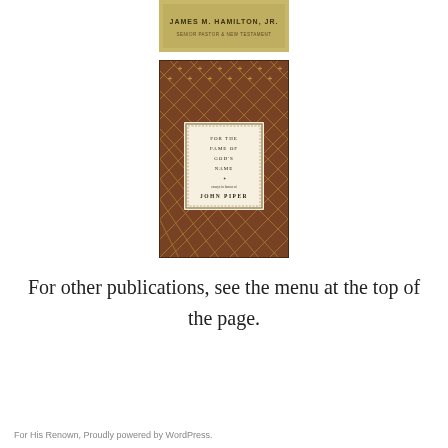[Figure (photo): Partially visible book cover showing 'James M. Hamilton, Jr.' text on a gold/beige background — cropped at the top of the page.]
[Figure (photo): Book cover for 'For the Fame of God's Name' with an ornate brown and gold decorative pattern, featuring a central cream-colored label with the title text and 'John Piper' written below.]
For other publications, see the menu at the top of the page.
For His Renown, Proudly powered by WordPress.